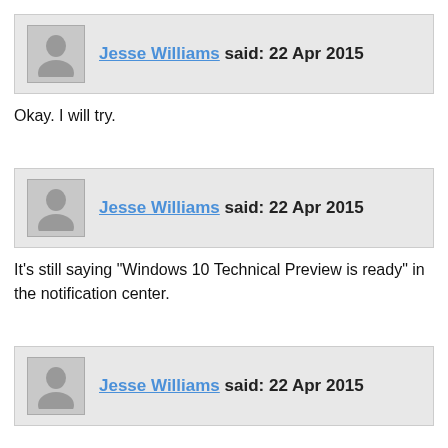Jesse Williams said: 22 Apr 2015
Okay. I will try.
Jesse Williams said: 22 Apr 2015
It's still saying "Windows 10 Technical Preview is ready" in the notification center.
Jesse Williams said: 22 Apr 2015